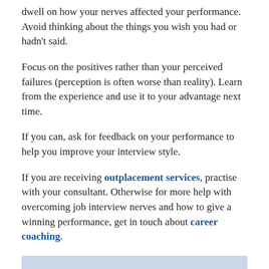dwell on how your nerves affected your performance. Avoid thinking about the things you wish you had or hadn't said.
Focus on the positives rather than your perceived failures (perception is often worse than reality). Learn from the experience and use it to your advantage next time.
If you can, ask for feedback on your performance to help you improve your interview style.
If you are receiving outplacement services, practise with your consultant. Otherwise for more help with overcoming job interview nerves and how to give a winning performance, get in touch about career coaching.
You might also like to read